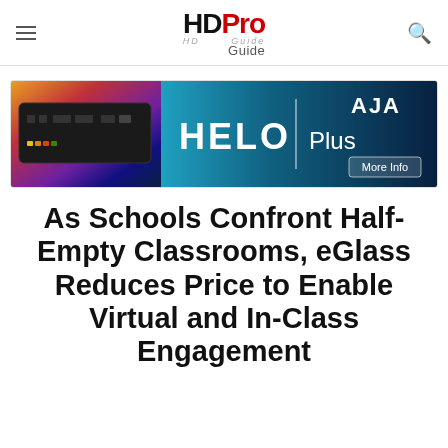HD Pro Guide
[Figure (other): Advertisement banner for AJA HELO Plus device showing a hardware encoder/streamer with rainbow gradient and teal background. Text reads 'HELO Plus' with AJA logo and 'More Info' button.]
As Schools Confront Half-Empty Classrooms, eGlass Reduces Price to Enable Virtual and In-Class Engagement